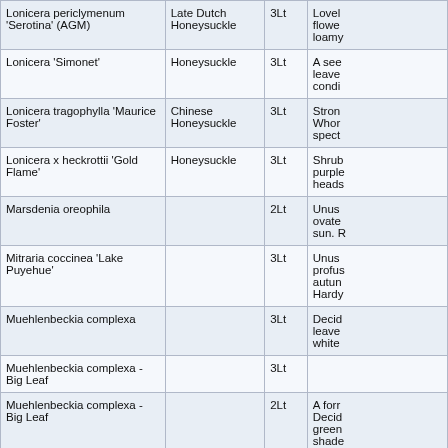|  |  |  |  |
| --- | --- | --- | --- |
| Lonicera periclymenum 'Serotina' (AGM) | Late Dutch Honeysuckle | 3Lt | Lovel flower loamy |
| Lonicera 'Simonet' | Honeysuckle | 3Lt | A see leave condi |
| Lonicera tragophylla 'Maurice Foster' | Chinese Honeysuckle | 3Lt | Stron Whor spect |
| Lonicera x heckrottii 'Gold Flame' | Honeysuckle | 3Lt | Shrub purple heads |
| Marsdenia oreophila |  | 2Lt | Unus ovate sun. R |
| Mitraria coccinea 'Lake Puyehue' |  | 3Lt | Unus profus autun Hardy |
| Muehlenbeckia complexa |  | 3Lt | Decid leave white |
| Muehlenbeckia complexa - Big Leaf |  | 3Lt |  |
| Muehlenbeckia complexa - Big Leaf |  | 2Lt | A forr Decid green shade |